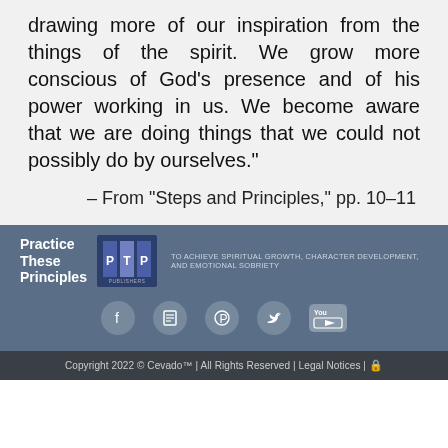drawing more of our inspiration from the things of the spirit. We grow more conscious of God’s presence and of his power working in us. We become aware that we are doing things that we could not possibly do by ourselves."
– From "Steps and Principles," pp. 10–11
[Figure (logo): Practice These Principles publisher logo with PTP icon and tagline: TO ACHIEVE SPIRITUAL GROWTH, CHARACTER DEVELOPMENT, AND EMOTIONAL SOBRIETY]
[Figure (infographic): Social media icons row: Facebook, document/blog, Pinterest, Twitter, YouTube]
Copyright 2022 © Cevado™ | All Rights Reserved | Legal Notices | 🔒